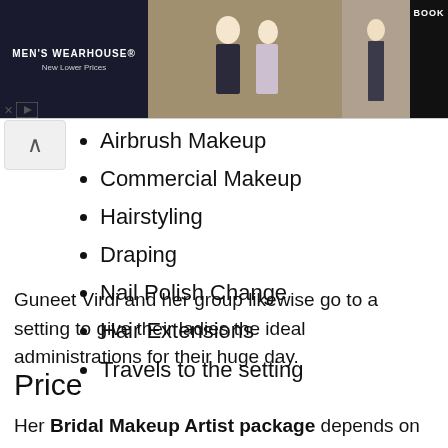[Figure (screenshot): Men's Wearhouse advertisement banner showing a couple in wedding attire and a man in a suit, with 'BOOK' button]
Airbrush Makeup
Commercial Makeup
Hairstyling
Draping
Nail Polish Change
Hair Extensions
Travels to the setting
Guneet Virdi and her group likewise go to a setting to give their ladies the ideal administrations for their huge day.
Price
Her Bridal Makeup Artist package depends on different functions. But she also gives